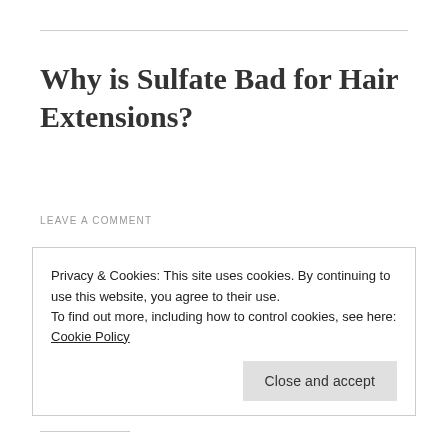Why is Sulfate Bad for Hair Extensions?
LEAVE A COMMENT
Sulfate-free products might not create as much lather in the shower, but that frothy bubble that comes from sulfates in your shampoos, can cause
Privacy & Cookies: This site uses cookies. By continuing to use this website, you agree to their use.
To find out more, including how to control cookies, see here: Cookie Policy
Close and accept